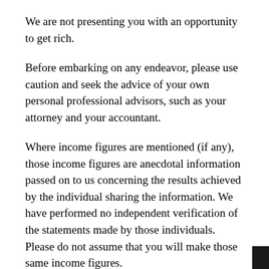We are not presenting you with an opportunity to get rich.
Before embarking on any endeavor, please use caution and seek the advice of your own personal professional advisors, such as your attorney and your accountant.
Where income figures are mentioned (if any), those income figures are anecdotal information passed on to us concerning the results achieved by the individual sharing the information. We have performed no independent verification of the statements made by those individuals. Please do not assume that you will make those same income figures.
Please do not construe any statement in this website as a claim or representation of average earnings. There are NO average earnings. Testimonials and statements of individuals are not to be construed as claims or